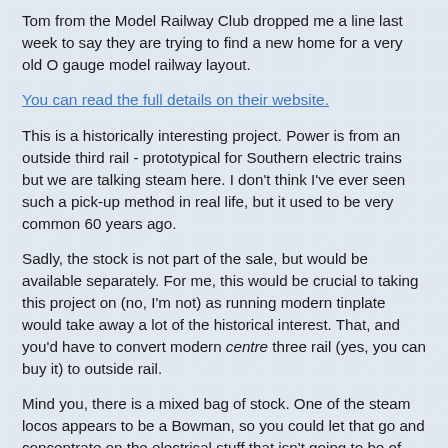Tom from the Model Railway Club dropped me a line last week to say they are trying to find a new home for a very old O gauge model railway layout.
You can read the full details on their website.
This is a historically interesting project. Power is from an outside third rail - prototypical for Southern electric trains but we are talking steam here. I don't think I've ever seen such a pick-up method in real life, but it used to be very common 60 years ago.
Sadly, the stock is not part of the sale, but would be available separately. For me, this would be crucial to taking this project on (no, I'm not) as running modern tinplate would take away a lot of the historical interest. That, and you'd have to convert modern centre three rail (yes, you can buy it) to outside rail.
Mind you, there is a mixed bag of stock. One of the steam locos appears to be a Bowman, so you could let that go and concentrate on the electrical stuff that isn't going to be of great value on the open market.
The good news is that the model is designed to be split up...